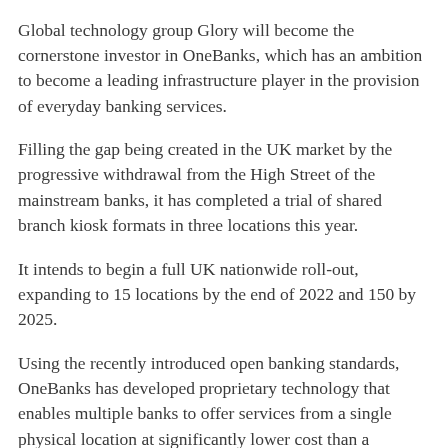Global technology group Glory will become the cornerstone investor in OneBanks, which has an ambition to become a leading infrastructure player in the provision of everyday banking services.
Filling the gap being created in the UK market by the progressive withdrawal from the High Street of the mainstream banks, it has completed a trial of shared branch kiosk formats in three locations this year.
It intends to begin a full UK nationwide roll-out, expanding to 15 locations by the end of 2022 and 150 by 2025.
Using the recently introduced open banking standards, OneBanks has developed proprietary technology that enables multiple banks to offer services from a single physical location at significantly lower cost than a traditional branch.
Participating banks' customers – both personal and small business – have free access to multiple transaction types